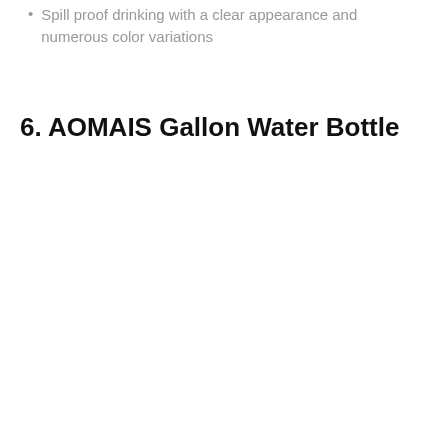Spill proof drinking with a clear appearance and numerous color variations
6. AOMAIS Gallon Water Bottle